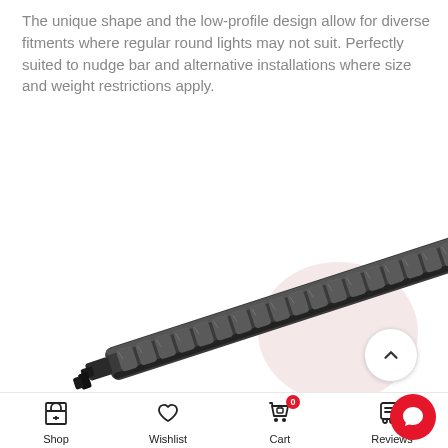The unique shape and the low-profile design allow for diverse fitments where regular round lights may not suit. Perfectly suited to nudge bar and alternative installations where size and weight restrictions apply.
[Figure (photo): A slim, elongated LED light bar product shown diagonally, dark gray/black housing with multiple LED lenses visible, mounted on a white background with a light pink circular background element in the lower right.]
Shop  Wishlist  Cart (0)  Reviews